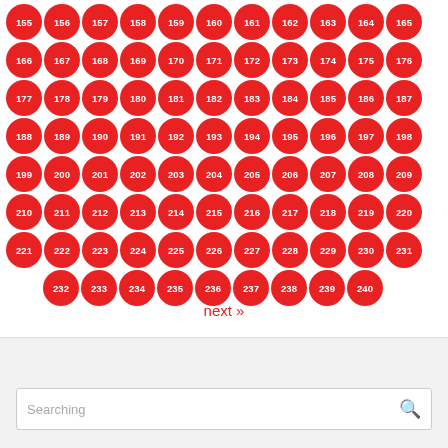[Figure (other): Grid of red circular badges numbered 155 through 240, arranged in rows of 11 (last row has 9), each badge showing a white number on a red circle background.]
next »
Searching